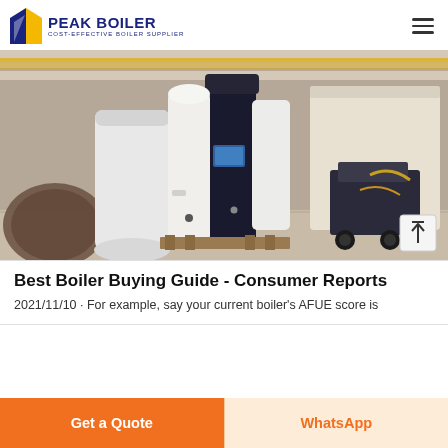PEAK BOILER — COST-EFFECTIVE BOILER SUPPLIER
[Figure (photo): Industrial boilers in a warehouse/factory setting. A tall white-and-black boiler unit stands prominently in the center, surrounded by other wrapped boiler equipment and industrial machinery on a concrete floor.]
Best Boiler Buying Guide - Consumer Reports
2021/11/10 · For example, say your current boiler's AFUE score is